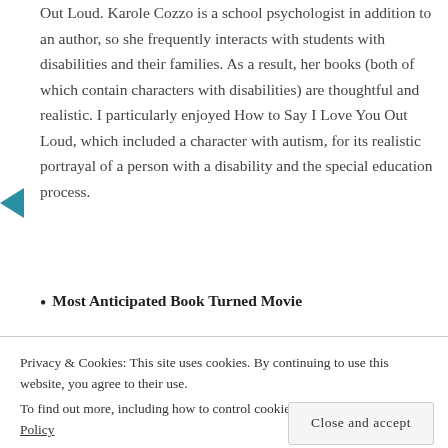Out Loud. Karole Cozzo is a school psychologist in addition to an author, so she frequently interacts with students with disabilities and their families. As a result, her books (both of which contain characters with disabilities) are thoughtful and realistic. I particularly enjoyed How to Say I Love You Out Loud, which included a character with autism, for its realistic portrayal of a person with a disability and the special education process.
Most Anticipated Book Turned Movie
Privacy & Cookies: This site uses cookies. By continuing to use this website, you agree to their use. To find out more, including how to control cookies, see here: Cookie Policy